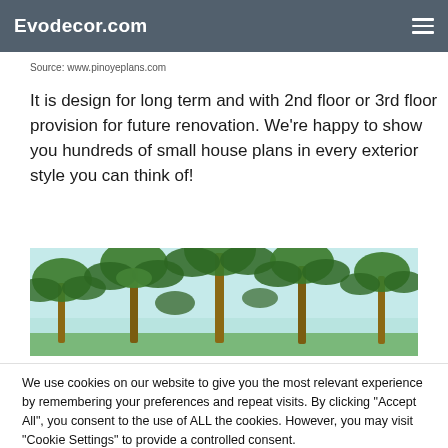Evodecor.com
Source: www.pinoyeplans.com
It is design for long term and with 2nd floor or 3rd floor provision for future renovation. We're happy to show you hundreds of small house plans in every exterior style you can think of!
[Figure (photo): Wide horizontal photo of tropical palm trees against a light blue sky, taken from below looking upward at the canopy.]
We use cookies on our website to give you the most relevant experience by remembering your preferences and repeat visits. By clicking "Accept All", you consent to the use of ALL the cookies. However, you may visit "Cookie Settings" to provide a controlled consent.